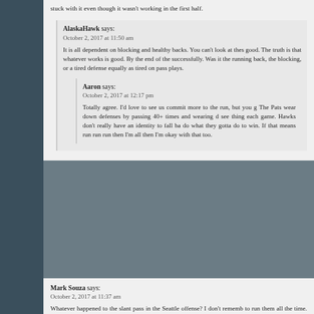stuck with it even though it wasn't working in the first half.
AlaskaHawk says: October 2, 2017 at 11:50 am
It is all dependent on blocking and healthy backs. You can't look at these things in a vacuum and call it good. The truth is that whatever works is good. By the end of the game they were running successfully. Was it the running back, the blocking, or a tired defense? I suspect the defense was equally as tired on pass plays.
Aaron says: October 2, 2017 at 12:17 pm
Totally agree. I'd love to see us commit more to the run, but you gotta do what works. The Pats wear down defenses by passing 40+ times and wearing d see thing each game. Hawks don't really have an identity to fall ba do what they gotta do to win. If that means run run run then I'm all then I'm okay with that too.
Mark Souza says: October 2, 2017 at 11:37 am
Whatever happened to the slant pass in the Seattle offense? I don't rememb to run them all the time. The thing about slant passes is they are almost i much yardage, usually 4 to 6 yards, but occasionally they pop for double digi